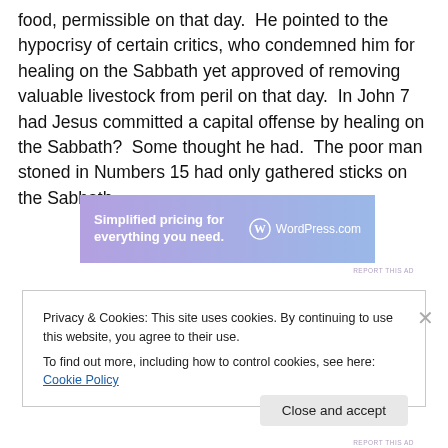food, permissible on that day.  He pointed to the hypocrisy of certain critics, who condemned him for healing on the Sabbath yet approved of removing valuable livestock from peril on that day.  In John 7 had Jesus committed a capital offense by healing on the Sabbath?  Some thought he had.  The poor man stoned in Numbers 15 had only gathered sticks on the Sabbath.
[Figure (other): WordPress.com advertisement banner: 'Simplified pricing for everything you need.' with WordPress.com logo on a blue-purple gradient background.]
REPORT THIS AD
Privacy & Cookies: This site uses cookies. By continuing to use this website, you agree to their use.
To find out more, including how to control cookies, see here: Cookie Policy
Close and accept